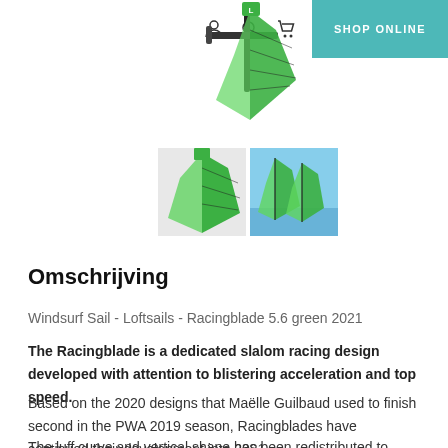SHOP ONLINE
[Figure (photo): Windsurf sail product image - green Loftsails Racingblade mounted on mast, top view]
[Figure (photo): Two thumbnail photos: left shows green windsurf sail close-up, right shows two green sails on water]
Omschrijving
Windsurf Sail - Loftsails - Racingblade 5.6 green 2021
The Racingblade is a dedicated slalom racing design developed with attention to blistering acceleration and top speed.
Based on the 2020 designs that Maëlle Guilbaud used to finish second in the PWA 2019 season, Racingblades have continued their development into 2021.
The luff curve and vertical shape has been redistributed to